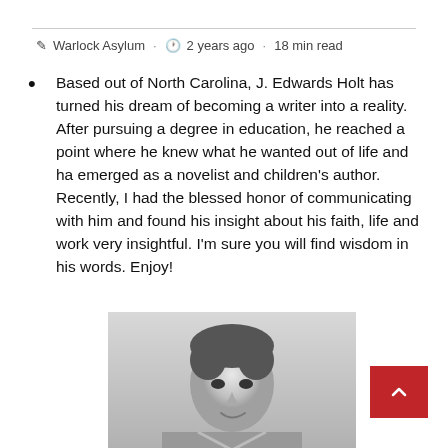✎ Warlock Asylum · ⏱ 2 years ago · 18 min read
Based out of North Carolina, J. Edwards Holt has turned his dream of becoming a writer into a reality. After pursuing a degree in education, he reached a point where he knew what he wanted out of life and ha emerged as a novelist and children's author. Recently, I had the blessed honor of communicating with him and found his insight about his faith, life and work very insightful. I'm sure you will find wisdom in his words. Enjoy!
[Figure (photo): Black and white portrait photo of a young man with dark hair, smiling]